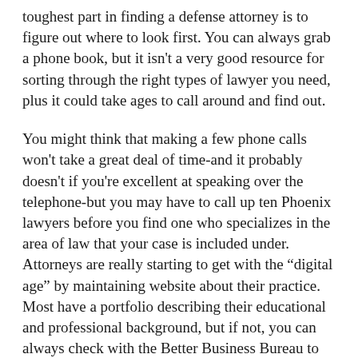toughest part in finding a defense attorney is to figure out where to look first. You can always grab a phone book, but it isn't a very good resource for sorting through the right types of lawyer you need, plus it could take ages to call around and find out.
You might think that making a few phone calls won't take a great deal of time-and it probably doesn't if you're excellent at speaking over the telephone-but you may have to call up ten Phoenix lawyers before you find one who specializes in the area of law that your case is included under. Attorneys are really starting to get with the “digital age” by maintaining website about their practice. Most have a portfolio describing their educational and professional background, but if not, you can always check with the Better Business Bureau to see if anyone has had a bad experience with them.